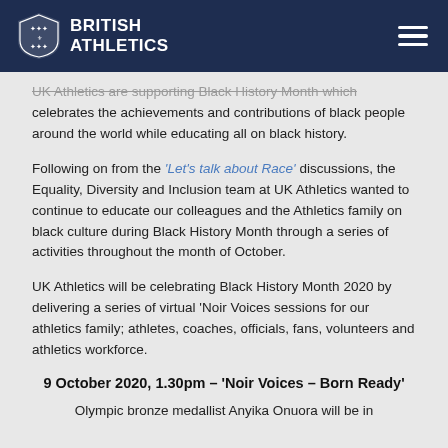BRITISH ATHLETICS
UK Athletics are supporting Black History Month which celebrates the achievements and contributions of black people around the world while educating all on black history.
Following on from the 'Let's talk about Race' discussions, the Equality, Diversity and Inclusion team at UK Athletics wanted to continue to educate our colleagues and the Athletics family on black culture during Black History Month through a series of activities throughout the month of October.
UK Athletics will be celebrating Black History Month 2020 by delivering a series of virtual 'Noir Voices sessions for our athletics family; athletes, coaches, officials, fans, volunteers and athletics workforce.
9 October 2020, 1.30pm – 'Noir Voices – Born Ready'
Olympic bronze medallist Anyika Onuora will be in